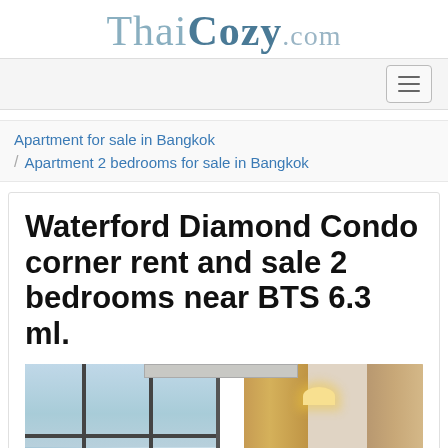ThaiCozy.com
Apartment for sale in Bangkok / Apartment 2 bedrooms for sale in Bangkok
Waterford Diamond Condo corner rent and sale 2 bedrooms near BTS 6.3 ml.
[Figure (photo): Interior photo of a condo bedroom with large floor-to-ceiling windows showing a city skyline, warm-toned curtains, and a wall lamp]